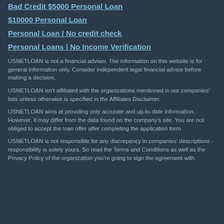Bad Credit $5000 Personal Loan
$10000 Personal Loan
Personal Loan | No credit check
Personal Loans | No Income Verification
USNETLOAN is not a financial adviser. The information on this website is for general information only. Consider independent legal financial advice before making a decision.
USNETLOAN isn't affiliated with the organizations mentioned in our companies' lists unless otherwise is specified in the Affiliates Disclaimer.
USNETLOAN aims at providing only accurate and up-to-date information. However, it may differ from the data found on the company's site. You are not obliged to accept the loan offer after completing the application form.
USNETLOAN is not responsible for any discrepancy in companies' descriptions - responsibility is solely yours. So read the Terms and Conditions as well as the Privacy Policy of the organization you're going to sign the agreement with.